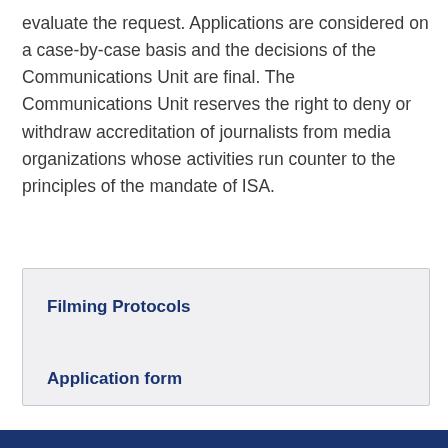evaluate the request. Applications are considered on a case-by-case basis and the decisions of the Communications Unit are final. The Communications Unit reserves the right to deny or withdraw accreditation of journalists from media organizations whose activities run counter to the principles of the mandate of ISA.
Filming Protocols
Application form